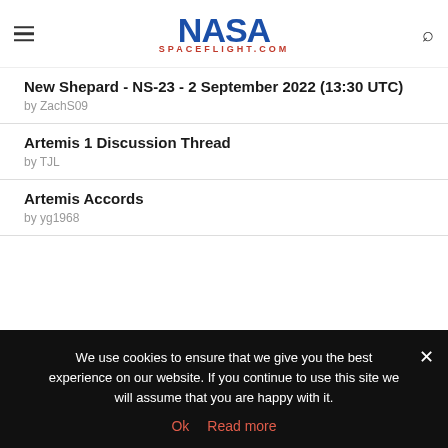NASA SPACEFLIGHT.COM
New Shepard - NS-23 - 2 September 2022 (13:30 UTC)
by ZachS09
Artemis 1 Discussion Thread
by TJL
Artemis Accords
by yg1968
We use cookies to ensure that we give you the best experience on our website. If you continue to use this site we will assume that you are happy with it.
Ok   Read more